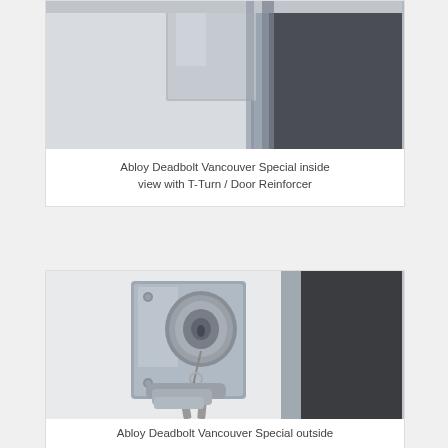[Figure (photo): Abloy Deadbolt Vancouver Special inside view with T-Turn / Door Reinforcer — top portion of photo showing door edge and reinforcer plate]
Abloy Deadbolt Vancouver Special inside view with T-Turn / Door Reinforcer
[Figure (photo): Abloy Deadbolt Vancouver Special outside view showing cylindrical lock with keys inserted, a door handle/lever below, mounted on white door with metal reinforcer plate]
Abloy Deadbolt Vancouver Special outside